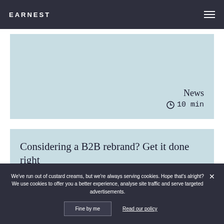EARNEST
News
10 min
Considering a B2B rebrand? Get it done right
We've run out of custard creams, but we're always serving cookies. Hope that's alright? We use cookies to offer you a better experience, analyse site traffic and serve targeted advertisements.
Fine by me   Read our policy